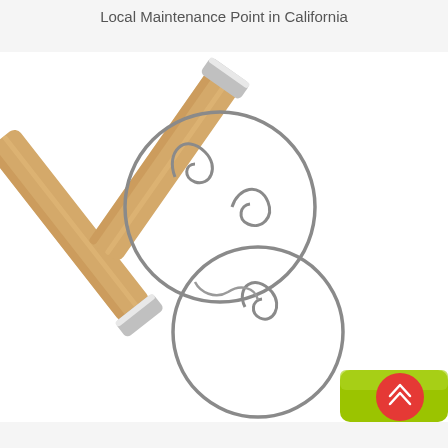Local Maintenance Point in California
[Figure (photo): Two Danish dough whisks with wooden handles and stainless steel wire loops, arranged in a figure-8 pattern. A green silicone scraper and red scroll-to-top button are visible in the bottom right corner.]